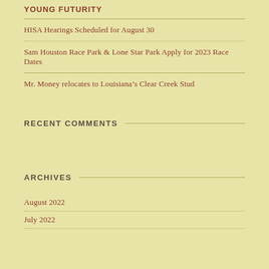YOUNG FUTURITY
HISA Hearings Scheduled for August 30
Sam Houston Race Park & Lone Star Park Apply for 2023 Race Dates
Mr. Money relocates to Louisiana's Clear Creek Stud
RECENT COMMENTS
ARCHIVES
August 2022
July 2022